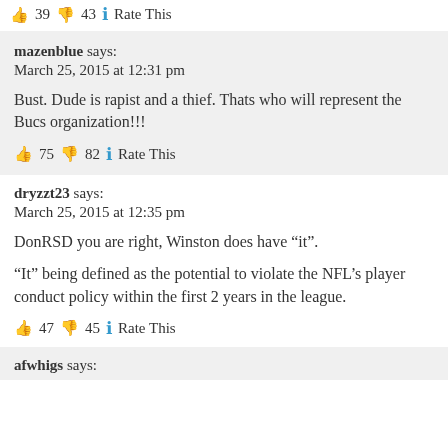👍 39 👎 43 🔵 Rate This
mazenblue says:
March 25, 2015 at 12:31 pm

Bust. Dude is rapist and a thief. Thats who will represent the Bucs organization!!!

👍 75 👎 82 🔵 Rate This
dryzzt23 says:
March 25, 2015 at 12:35 pm

DonRSD you are right, Winston does have "it".

"It" being defined as the potential to violate the NFL's player conduct policy within the first 2 years in the league.

👍 47 👎 45 🔵 Rate This
afwhigs says: